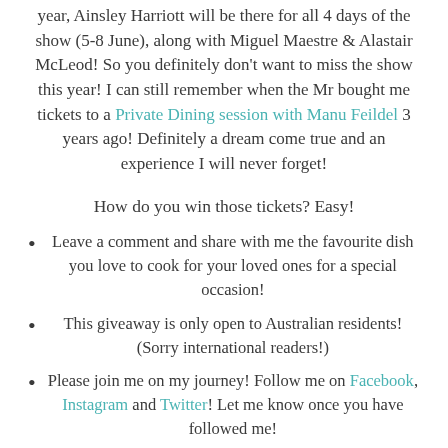year, Ainsley Harriott will be there for all 4 days of the show (5-8 June), along with Miguel Maestre & Alastair McLeod! So you definitely don't want to miss the show this year! I can still remember when the Mr bought me tickets to a Private Dining session with Manu Feildel 3 years ago! Definitely a dream come true and an experience I will never forget!
How do you win those tickets? Easy!
Leave a comment and share with me the favourite dish you love to cook for your loved ones for a special occasion!
This giveaway is only open to Australian residents! (Sorry international readers!)
Please join me on my journey! Follow me on Facebook, Instagram and Twitter! Let me know once you have followed me!